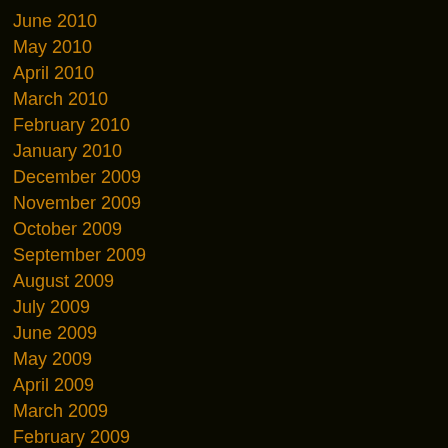June 2010
May 2010
April 2010
March 2010
February 2010
January 2010
December 2009
November 2009
October 2009
September 2009
August 2009
July 2009
June 2009
May 2009
April 2009
March 2009
February 2009
January 2009
December 2008
November 2008
October 2008